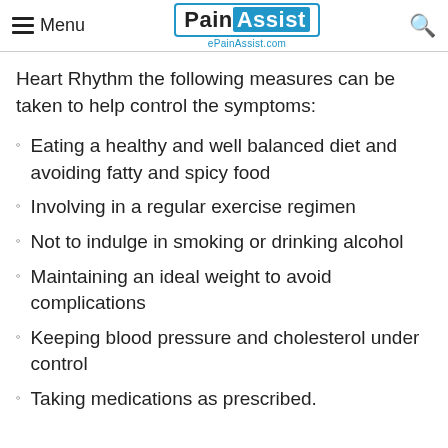Menu | PainAssist ePainAssist.com
Heart Rhythm the following measures can be taken to help control the symptoms:
Eating a healthy and well balanced diet and avoiding fatty and spicy food
Involving in a regular exercise regimen
Not to indulge in smoking or drinking alcohol
Maintaining an ideal weight to avoid complications
Keeping blood pressure and cholesterol under control
Taking medications as prescribed.